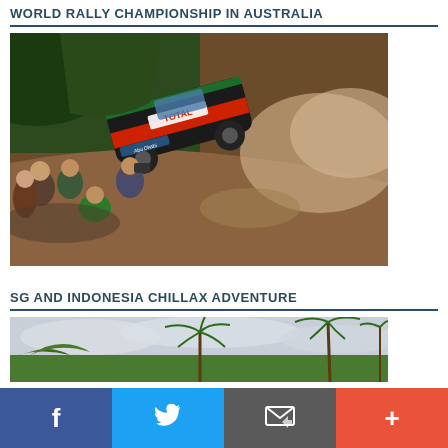WORLD RALLY CHAMPIONSHIP IN AUSTRALIA
[Figure (photo): A rally car with TOTAL sponsorship livery airborne on a dirt track during the World Rally Championship in Australia, with spectators watching from the roadside.]
SG AND INDONESIA CHILLAX ADVENTURE
[Figure (photo): Tropical landscape with palm trees under a cloudy sky, related to the SG and Indonesia Chillax Adventure.]